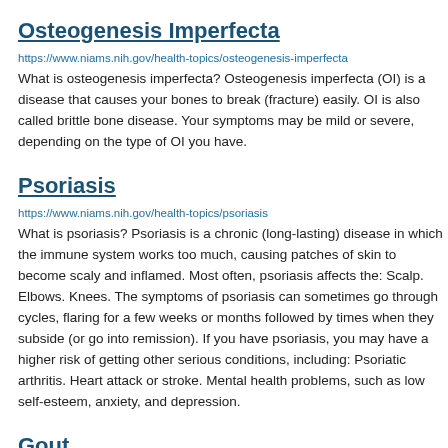Osteogenesis Imperfecta
https://www.niams.nih.gov/health-topics/osteogenesis-imperfecta
What is osteogenesis imperfecta? Osteogenesis imperfecta (OI) is a disease that causes your bones to break (fracture) easily. OI is also called brittle bone disease. Your symptoms may be mild or severe, depending on the type of OI you have.
Psoriasis
https://www.niams.nih.gov/health-topics/psoriasis
What is psoriasis? Psoriasis is a chronic (long-lasting) disease in which the immune system works too much, causing patches of skin to become scaly and inflamed. Most often, psoriasis affects the: Scalp. Elbows. Knees. The symptoms of psoriasis can sometimes go through cycles, flaring for a few weeks or months followed by times when they subside (or go into remission). If you have psoriasis, you may have a higher risk of getting other serious conditions, including: Psoriatic arthritis. Heart attack or stroke. Mental health problems, such as low self-esteem, anxiety, and depression.
Gout
https://www.niams.nih.gov/health-topics/gout